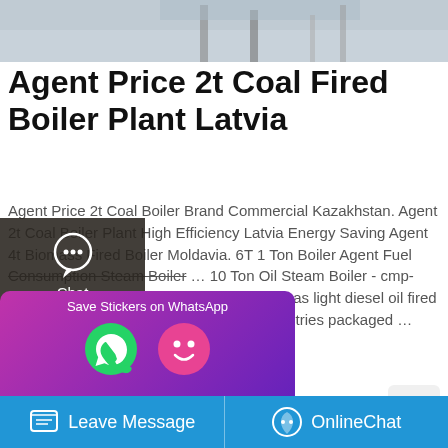[Figure (photo): Top partial photo of industrial boiler equipment, gray/blue tones, partially cropped]
Agent Price 2t Coal Fired Boiler Plant Latvia
Agent Price 2t Coal Boiler Brand Commercial Kazakhstan. Agent 2t Coal Boiler Plant High Efficiency Latvia Energy Saving Agent 4t Biomass Fired Boiler Moldavia. 6T 1 Ton Boiler Agent Fuel Consumption Steam Boiler … 10 Ton Oil Steam Boiler - cmp-h.org.uk. WNS 1t 2t 3t 4t 6t 8t 10t natural gas light diesel oil fired steam boiler . smal machine for small industries packaged …
[Figure (screenshot): Left sidebar with dark background showing Chat, Email, Contact icons in white on dark overlay]
[Figure (screenshot): Get a Quote yellow rounded button and scroll-up arrow button]
[Figure (screenshot): WhatsApp sticker save promo bar with purple gradient and icons]
Leave Message   OnlineChat